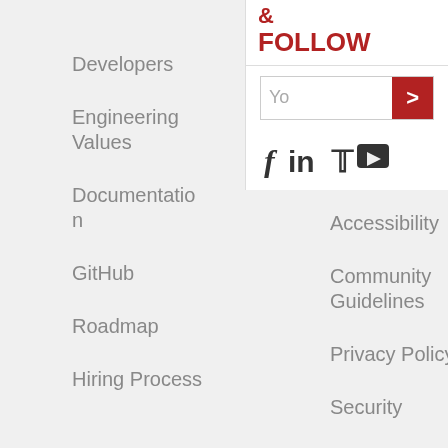Developers
Engineering Values
Documentation
GitHub
Roadmap
Hiring Process
Blog
Help
Contact Us
Accessibility
Community Guidelines
Privacy Policy
Security
Terms of Service
& FOLLOW
[Figure (other): Email subscribe input with red submit button showing 'Yo' placeholder text and '>' button, followed by social media icons for Facebook, LinkedIn, Twitter, and YouTube]